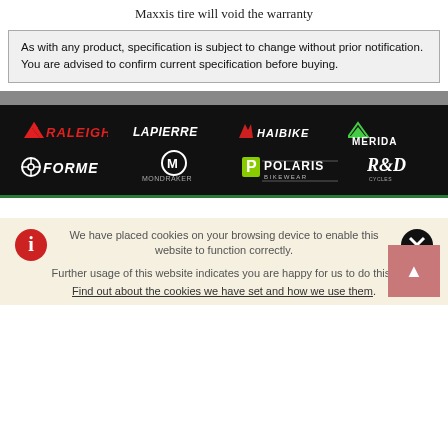Maxxis tire will void the warranty
As with any product, specification is subject to change without prior notification. You are advised to confirm current specification before buying.
[Figure (logo): Brand banner on black background showing logos: Raleigh, Lapierre, Haibike, Merida, Forme, Mondraker, Polaris Bikewear, R&D]
We have placed cookies on your browsing device to enable this website to function correctly. Further usage of this website indicates you are happy for us to do this.. Find out about the cookies we have set and how we use them.